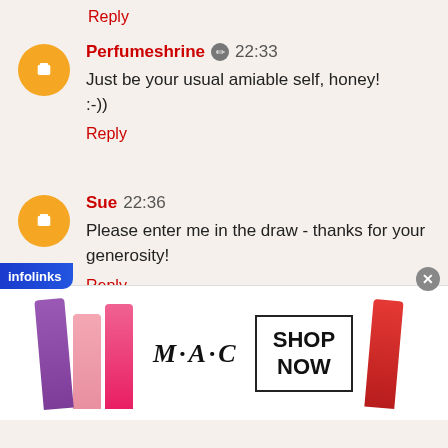Reply
Perfumeshrine 22:33
Just be your usual amiable self, honey!
:-))
Reply
Sue 22:36
Please enter me in the draw - thanks for your generosity!
Reply
Perfumeshrine 22:51
[Figure (screenshot): MAC cosmetics advertisement showing lipsticks with SHOP NOW button and infolinks bar overlay]